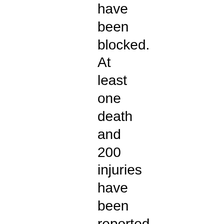have been blocked. At least one death and 200 injuries have been reported. It is also reported that the internet has been disabled.
Related Categories | Anti-militarism | Repression